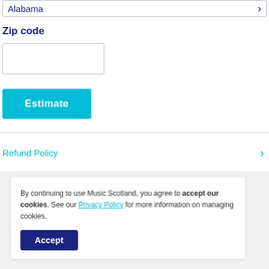Alabama
Zip code
[Figure (screenshot): Empty zip code input field]
[Figure (screenshot): Estimate button (cyan)]
Refund Policy
By continuing to use Music Scotland, you agree to accept our cookies. See our Privacy Policy for more information on managing cookies.
[Figure (screenshot): Accept button (dark blue)]